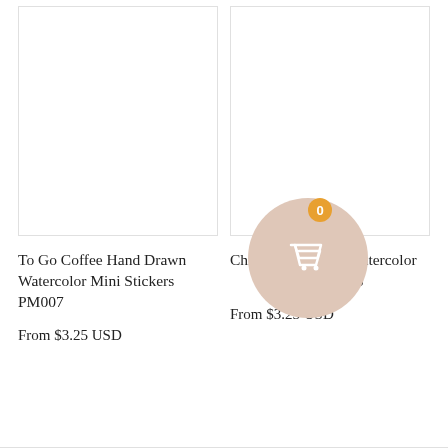[Figure (photo): Product image placeholder for To Go Coffee Hand Drawn Watercolor Mini Stickers PM007]
To Go Coffee Hand Drawn Watercolor Mini Stickers PM007
From $3.25 USD
[Figure (photo): Product image placeholder for Chill Hand Drawn Watercolor Mini Stickers PM025, partially obscured by shopping cart overlay]
Chill Hand Drawn Watercolor Mini Stickers PM025
From $3.25 USD
[Figure (illustration): Shopping cart icon in a beige/tan circle with orange badge showing 0]